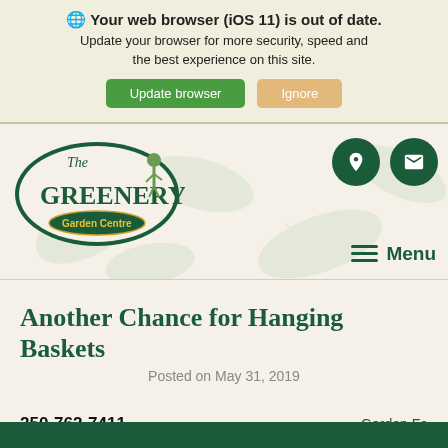Your web browser (iOS 11) is out of date. Update your browser for more security, speed and the best experience on this site. Update browser | Ignore
[Figure (screenshot): The Greenery Garden Centre logo — oval green badge with illustrated gardener figure, dark green serif text 'The GREENERY', yellow text 'Garden Centre']
[Figure (screenshot): Navigation header with location pin icon and envelope icon in dark green circles, and hamburger Menu button]
Another Chance for Hanging Baskets
Posted on May 31, 2019
250-762-7411
Garden Fa